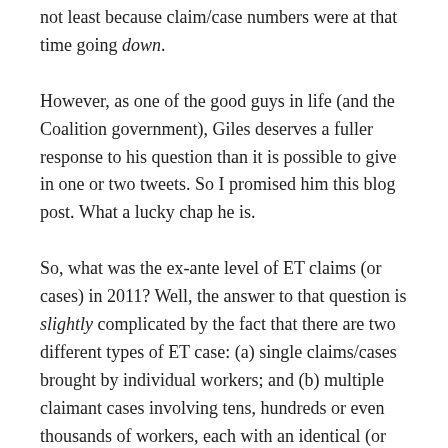not least because claim/case numbers were at that time going down.
However, as one of the good guys in life (and the Coalition government), Giles deserves a fuller response to his question than it is possible to give in one or two tweets. So I promised him this blog post. What a lucky chap he is.
So, what was the ex-ante level of ET claims (or cases) in 2011? Well, the answer to that question is slightly complicated by the fact that there are two different types of ET case: (a) single claims/cases brought by individual workers; and (b) multiple claimant cases involving tens, hundreds or even thousands of workers, each with an identical (or very similar) claim against the same employer. For example, in 2012-13 –